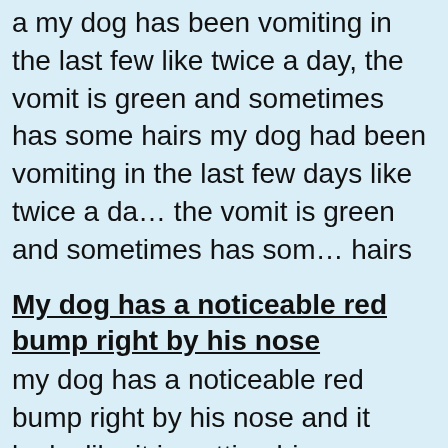a my dog has been vomiting in the last few like twice a day, the vomit is green and sometimes has some hairs my dog had been vomiting in the last few days like twice a day, the vomit is green and sometimes has some hairs
My dog has a noticeable red bump right by his nose
my dog has a noticeable red bump right by his nose and it looks like it is getting bigger. what is it? My dog has recently developed a red bump by his nose. It is red and looks like it has grown a little bigger. What is it? He is a 1 year old miniature schnauzer.
Could my dog have something serious?